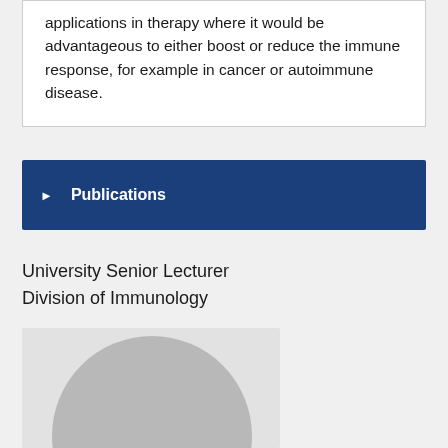applications in therapy where it would be advantageous to either boost or reduce the immune response, for example in cancer or autoimmune disease.
Publications
University Senior Lecturer
Division of Immunology
[Figure (photo): Placeholder profile photo with grey circle on light grey background]